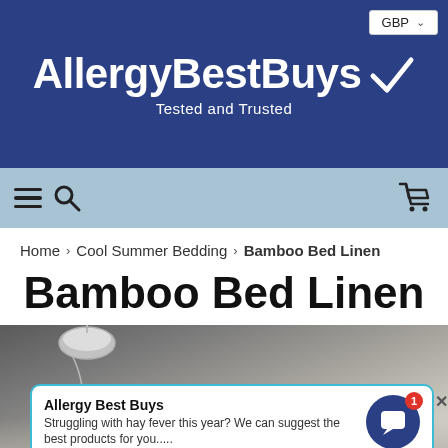AllergyBestBuys — Tested and Trusted | GBP
[Figure (screenshot): Navigation bar with hamburger menu, search icon, and shopping cart icon on a light blue background]
Home › Cool Summer Bedding › Bamboo Bed Linen
Bamboo Bed Linen
[Figure (photo): Bedroom scene with pendant lamp and white bedding, with a chat popup overlay from Allergy Best Buys saying: Struggling with hay fever this year? We can suggest the best products for you.....]